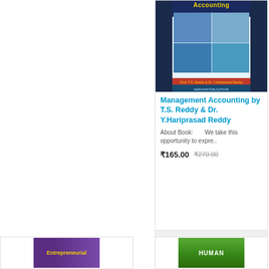[Figure (photo): Book cover of Management Accounting by T.S. Reddy and Dr. Y.Hariprasad Reddy, showing a dark blue cover with the title Accounting in yellow, collage of business/accounting photos, and author names]
Management Accounting by T.S. Reddy & Dr. Y.Hariprasad Reddy
About Book:        We take this opportunity to expre..
₹165.00   ₹270.00
[Figure (photo): Partial book cover - Entrepreneurial (purple/yellow cover)]
[Figure (photo): Partial book cover - HUMAN (green cover)]